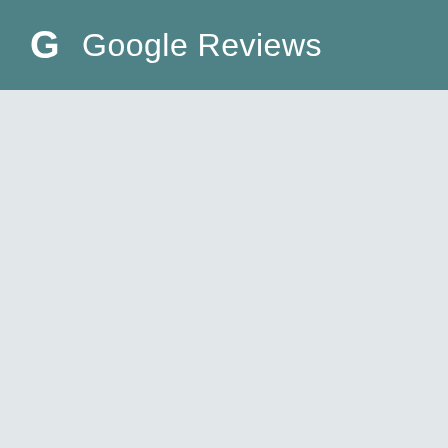G Google Reviews
[Figure (other): Empty light gray content area below the Google Reviews header banner]